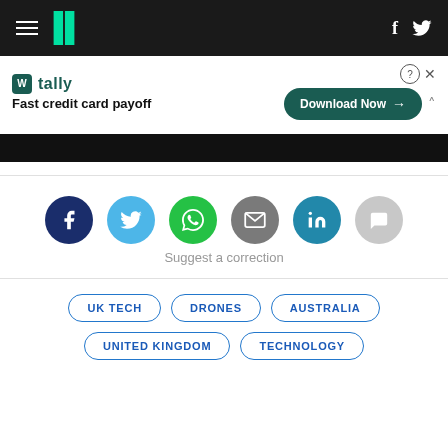HuffPost navigation bar with logo, hamburger menu, and social icons
[Figure (screenshot): Advertisement banner for Tally app — Fast credit card payoff, with Download Now button]
[Figure (infographic): Social sharing buttons row: Facebook, Twitter, WhatsApp, Email, LinkedIn, Comments]
Suggest a correction
UK TECH
DRONES
AUSTRALIA
UNITED KINGDOM
TECHNOLOGY